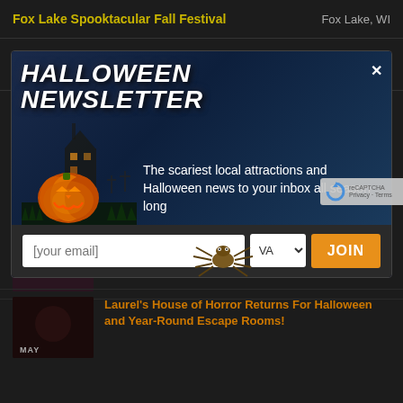Fox Lake Spooktacular Fall Festival | Fox Lake, WI
Fright Hike at Lapham Peak State Park | Delafield, WI
[Figure (screenshot): Halloween Newsletter modal popup with orange 'JOIN' button, email input, state dropdown, glowing jack-o-lantern pumpkin against spooky blue night background with haunted house, and a spider graphic overlay. Text: 'The scariest local attractions and Halloween news to your inbox all season long']
Scream Park
Sep 2, 2022
Laurel's House of Horror Returns For Halloween and Year-Round Escape Rooms!